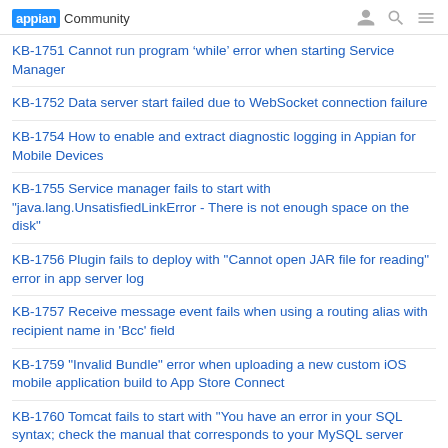appian Community
KB-1751 Cannot run program 'while' error when starting Service Manager
KB-1752 Data server start failed due to WebSocket connection failure
KB-1754 How to enable and extract diagnostic logging in Appian for Mobile Devices
KB-1755 Service manager fails to start with "java.lang.UnsatisfiedLinkError - There is not enough space on the disk"
KB-1756 Plugin fails to deploy with "Cannot open JAR file for reading" error in app server log
KB-1757 Receive message event fails when using a routing alias with recipient name in 'Bcc' field
KB-1759 "Invalid Bundle" error when uploading a new custom iOS mobile application build to App Store Connect
KB-1760 Tomcat fails to start with "You have an error in your SQL syntax; check the manual that corresponds to your MySQL server version"
KB-1762 Plugin fails after upgrade to 18.3 with "Unable to find [jdbc]" error in application server log
KB-1763 "HTTP Code: 500" error observed with ClusterBlockException or DiskThresholdMonitor error in the search server log